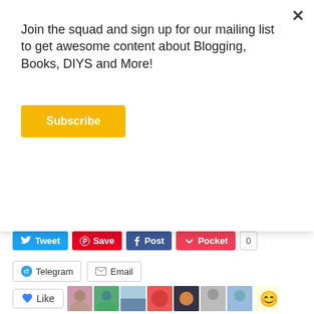Join the squad and sign up for our mailing list to get awesome content about Blogging, Books, DIYS and More!
[Figure (screenshot): Yellow Subscribe button]
[Figure (screenshot): Social share buttons row: Tweet (Twitter), Save (Pinterest), Post (Facebook), Pocket with count 0]
[Figure (screenshot): Share buttons row 2: Telegram, Email]
[Figure (screenshot): Like button with star icon and 8 blogger avatar thumbnails]
8 bloggers like this.
RELATED
[Figure (photo): Turquoise/mint background image with text: WHEN EVERYBODY THINKS YOU'RE TRYING TO BE FUNNY BUT YOU'RE ACTUALLY NOT. Relatable post: #1]
[Figure (photo): Person holding a box outdoors with circular overlay text: october wrap-up! from my birthday, discovering and books!]